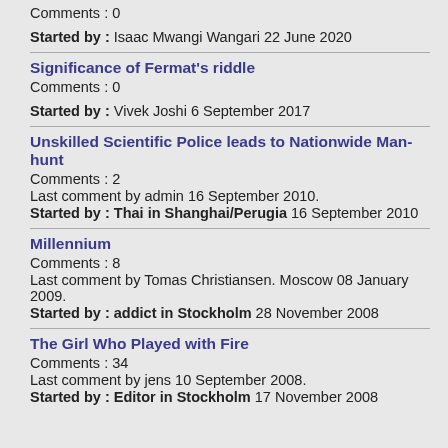Comments : 0
Started by : Isaac Mwangi Wangari 22 June 2020
Significance of Fermat's riddle
Comments : 0
Started by : Vivek Joshi 6 September 2017
Unskilled Scientific Police leads to Nationwide Man-hunt
Comments : 2
Last comment by admin 16 September 2010.
Started by : Thai in Shanghai/Perugia 16 September 2010
Millennium
Comments : 8
Last comment by Tomas Christiansen. Moscow 08 January 2009.
Started by : addict in Stockholm 28 November 2008
The Girl Who Played with Fire
Comments : 34
Last comment by jens 10 September 2008.
Started by : Editor in Stockholm 17 November 2008